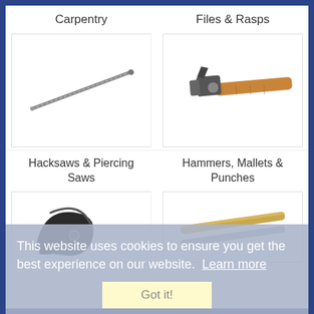Carpentry
Files & Rasps
[Figure (photo): A long thin metal file/rasp rod tool, diagonal, dark metallic finish]
[Figure (photo): A cross-peen hammer with wooden handle and metal head]
Hacksaws & Piercing Saws
Hammers, Mallets & Punches
[Figure (photo): A hacksaw / pipe cutter black tool with curved blade and handle]
[Figure (photo): Two gold/silver colored metal rods or shafts crossed diagonally]
This website uses cookies to ensure you get the best experience on our website.  Learn more
Got it!